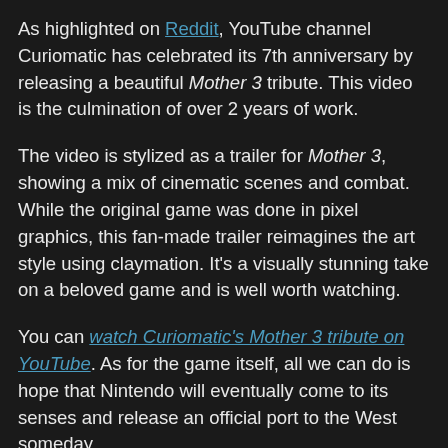As highlighted on Reddit, YouTube channel Curiomatic has celebrated its 7th anniversary by releasing a beautiful Mother 3 tribute. This video is the culmination of over 2 years of work.
The video is stylized as a trailer for Mother 3, showing a mix of cinematic scenes and combat. While the original game was done in pixel graphics, this fan-made trailer reimagines the art style using claymation. It's a visually stunning take on a beloved game and is well worth watching.
You can watch Curiomatic's Mother 3 tribute on YouTube. As for the game itself, all we can do is hope that Nintendo will eventually come to its senses and release an official port to the West someday.
What do you think of the fan tribute to Mother 3? Do you think Nintendo will ever release or remake this game for Western